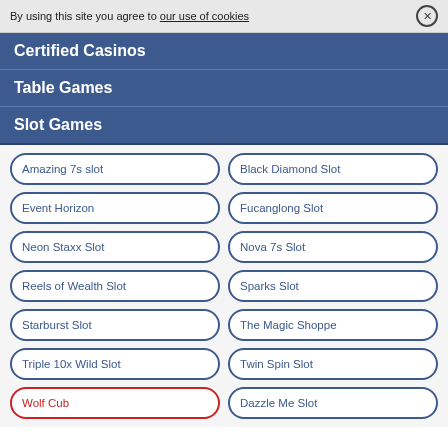By using this site you agree to our use of cookies ⊗
Certified Casinos
Table Games
Slot Games
Amazing 7s slot
Black Diamond Slot
Event Horizon
Fucanglong Slot
Neon Staxx Slot
Nova 7s Slot
Reels of Wealth Slot
Sparks Slot
Starburst Slot
The Magic Shoppe
Triple 10x Wild Slot
Twin Spin Slot
Wolf Cub
Dazzle Me Slot